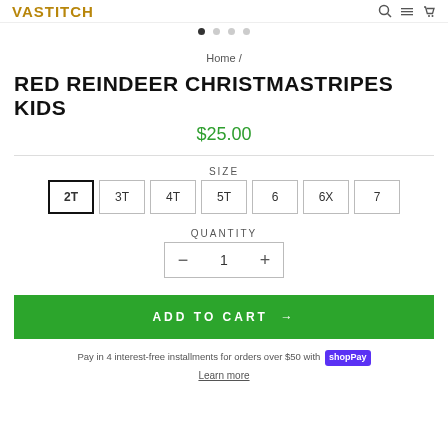VASTITCH
[Figure (other): Navigation dots, first one active (filled), three inactive]
Home /
RED REINDEER CHRISTMASTRIPES KIDS
$25.00
SIZE
2T  3T  4T  5T  6  6X  7
QUANTITY
− 1 +
ADD TO CART →
Pay in 4 interest-free installments for orders over $50 with Shop Pay
Learn more